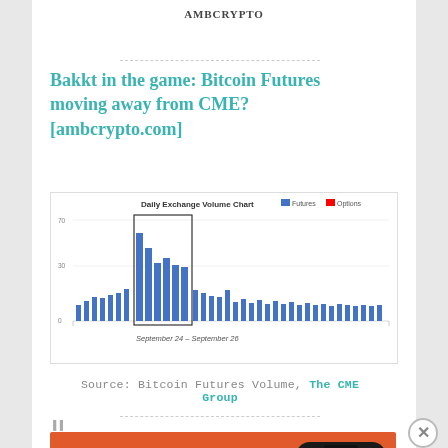AMBCRYPTO
Bakkt in the game: Bitcoin Futures moving away from CME? [ambcrypto.com]
[Figure (bar-chart): Daily Exchange Volume Chart for Bitcoin Futures (blue) and Options (red), covering dates around September 24 - September 26, with a highlighted section showing peaks on Sep 24-26]
Source: Bitcoin Futures Volume, The CME Group
[Figure (infographic): DuckDuckGo advertisement banner: Search, browse, and email with more privacy. All in One Free App - with phone illustration and DuckDuckGo logo]